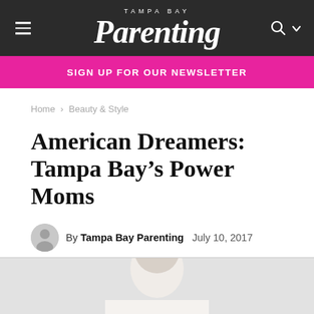Tampa Bay Parenting
SIGN UP FOR OUR NEWSLETTER
Home › Beauty & Style
American Dreamers: Tampa Bay's Power Moms
By Tampa Bay Parenting   July 10, 2017
[Figure (photo): Partial photo of a person visible at the bottom of the page]